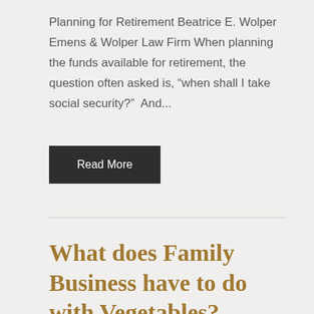Planning for Retirement Beatrice E. Wolper Emens & Wolper Law Firm When planning the funds available for retirement, the question often asked is, “when shall I take social security?”  And...
Read More
What does Family Business have to do with Vegetables?